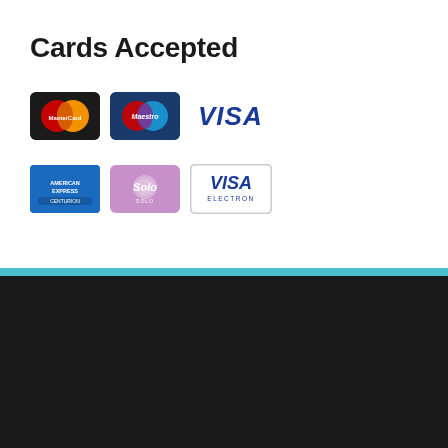Cards Accepted
[Figure (infographic): Payment card logos: MasterCard, Maestro, VISA, American Express, Solo, Visa Electron]
[Figure (logo): Think Wildlife - Campaign for Responsible Rodenticide Use logo]